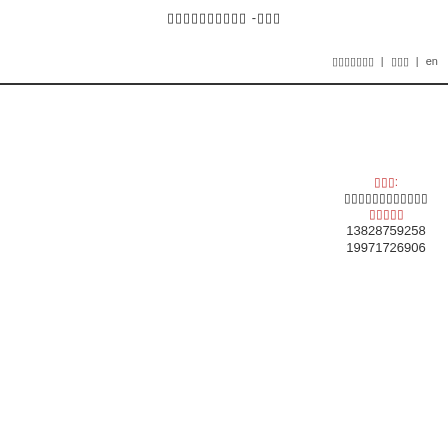oooooooooo -ooo
ooooooo | ooo | en
ooo: oooooooooooo ooooo 13828759258 19971726906